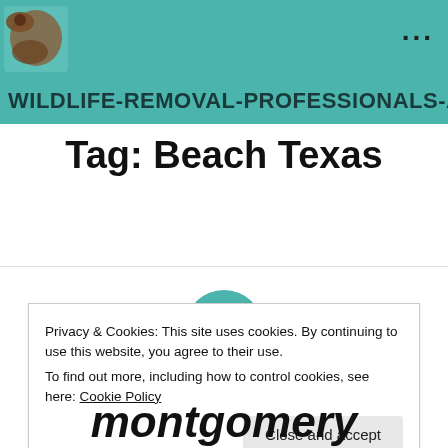WILDLIFE-REMOVAL-PROFESSIONALS-AN
Tag: Beach Texas
[Figure (illustration): Green teal circle with horizontal lines icon (menu/content icon)]
Privacy & Cookies: This site uses cookies. By continuing to use this website, you agree to their use.
To find out more, including how to control cookies, see here: Cookie Policy
Close and accept
montgomery